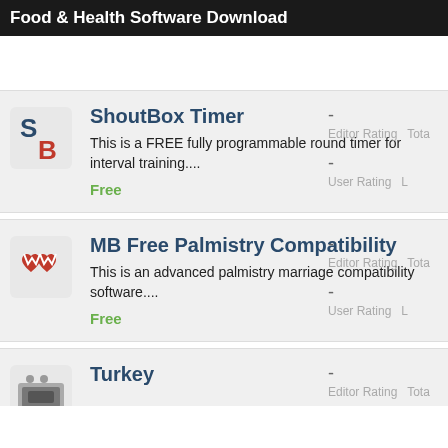Food & Health Software Download
ShoutBox Timer
This is a FREE fully programmable round timer for interval training....
Free
- Editor Rating  Tota
- User Rating  L
MB Free Palmistry Compatibility
This is an advanced palmistry marriage compatibility software....
Free
- Editor Rating  Tota
- User Rating  L
Turkey
- Editor Rating  Tota